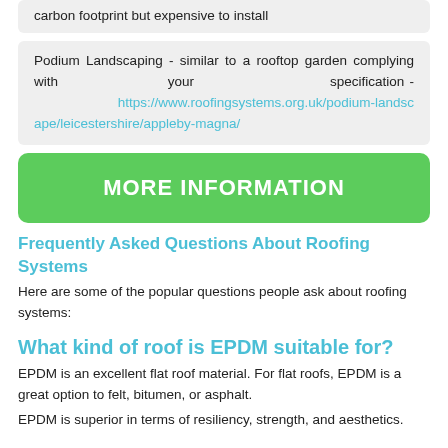carbon footprint but expensive to install
Podium Landscaping - similar to a rooftop garden complying with your specification - https://www.roofingsystems.org.uk/podium-landscape/leicestershire/appleby-magna/
MORE INFORMATION
Frequently Asked Questions About Roofing Systems
Here are some of the popular questions people ask about roofing systems:
What kind of roof is EPDM suitable for?
EPDM is an excellent flat roof material. For flat roofs, EPDM is a great option to felt, bitumen, or asphalt.
EPDM is superior in terms of resiliency, strength, and aesthetics.